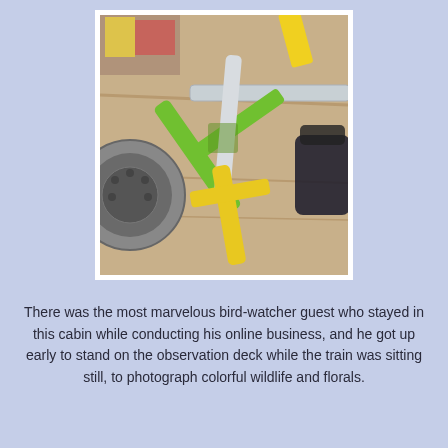[Figure (photo): A photograph of colorful toy or craft items — green, yellow, and white elongated pieces arranged in a cross/overlapping pattern against a wooden/brown background, with what appears to be a washing machine drum visible on the left and a backpack on the right.]
There was the most marvelous bird-watcher guest who stayed in this cabin while conducting his online business, and he got up early to stand on the observation deck while the train was sitting still, to photograph colorful wildlife and florals.